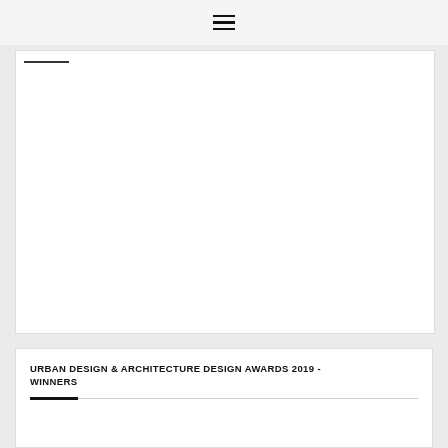☰
[Figure (photo): Large white rectangular image placeholder area with a small dark underline at the top left corner]
URBAN DESIGN & ARCHITECTURE DESIGN AWARDS 2019 - WINNERS